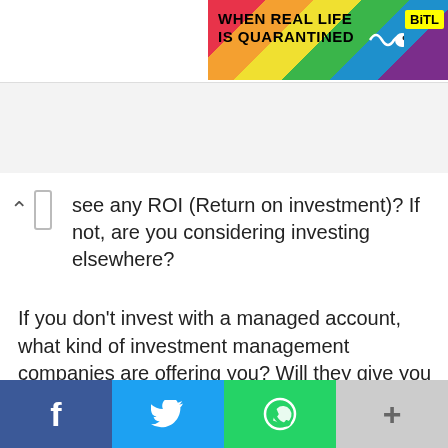[Figure (screenshot): Rainbow-colored banner advertisement reading 'WHEN REAL LIFE IS QUARANTINED' with 'BitL' logo on yellow background]
see any ROI (Return on investment)? If not, are you considering investing elsewhere?
If you don't invest with a managed account, what kind of investment management companies are offering you? Will they give you investment advice or manage your investments for you? Do you want to hire someone to manage your investments, or will you handle them? Is the cost to you high compared to hiring a financial advisor?
Are the fees charged for these services regulated? Some investment management companies have set their fees for these services, while other companies have chosen to charge according to the amount of traded money. These fees are usually done on a commission basis, which means that each quarter or annual